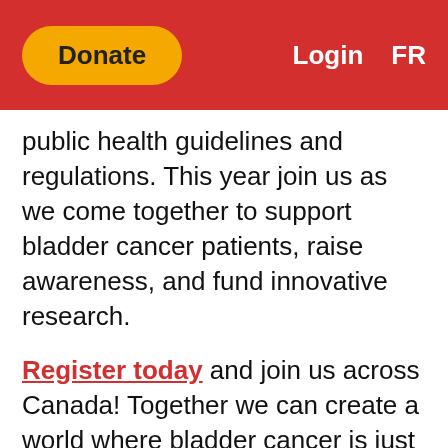Donate | Login FR
public health guidelines and regulations. This year join us as we come together to support bladder cancer patients, raise awareness, and fund innovative research.
Register today and join us across Canada! Together we can create a world where bladder cancer is just a memory.
Top Fundraisers